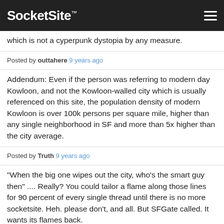SocketSite™
which is not a cyperpunk dystopia by any measure.
Posted by outtahere 9 years ago
Addendum: Even if the person was referring to modern day Kowloon, and not the Kowloon-walled city which is usually referenced on this site, the population density of modern Kowloon is over 100k persons per square mile, higher than any single neighborhood in SF and more than 5x higher than the city average.
Posted by Truth 9 years ago
“When the big one wipes out the city, who's the smart guy then” .... Really? You could tailor a flame along those lines for 90 percent of every single thread until there is no more socketsite. Heh. please don’t, and all. But SFGate called. It wants its flames back.
Posted by Wai Yip Tung 9 years ago
I am sure some “long-time residents and workers will not find it pleasant to live or work in the City”. I hear these people all the time. The day when every San Franciscan is happy with everything I will be completed shocked.